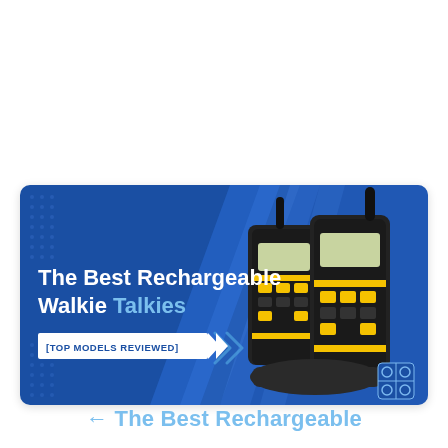[Figure (photo): Banner image showing two yellow-and-black rechargeable walkie talkie radios on a blue background with diagonal white stripe accents. White bold text reads 'The Best Rechargeable Walkie Talkies' with 'Talkies' in light blue. A white ribbon banner below reads '[TOP MODELS REVIEWED]'. A small logo icon appears in the bottom right corner.]
← The Best Rechargeable